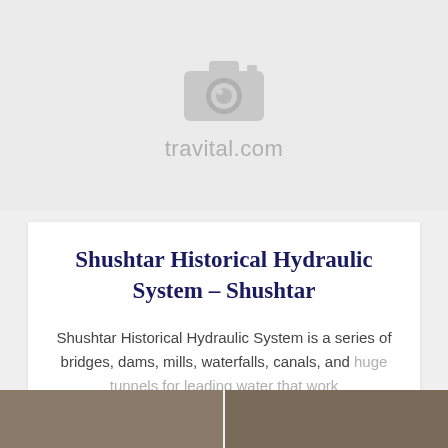[Figure (photo): Placeholder image with camera icon and travital.com watermark on a light grey background]
Shushtar Historical Hydraulic System – Shushtar
Shushtar Historical Hydraulic System is a series of bridges, dams, mills, waterfalls, canals, and huge tunnels for leading water that work
[Figure (photo): Two partial thumbnail photos at the bottom of the page showing a historical site]